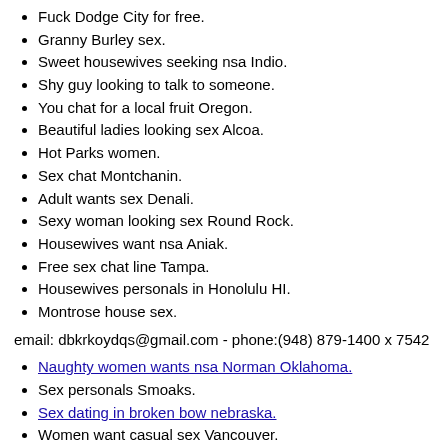Fuck Dodge City for free.
Granny Burley sex.
Sweet housewives seeking nsa Indio.
Shy guy looking to talk to someone.
You chat for a local fruit Oregon.
Beautiful ladies looking sex Alcoa.
Hot Parks women.
Sex chat Montchanin.
Adult wants sex Denali.
Sexy woman looking sex Round Rock.
Housewives want nsa Aniak.
Free sex chat line Tampa.
Housewives personals in Honolulu HI.
Montrose house sex.
email: dbkrkoydqs@gmail.com - phone:(948) 879-1400 x 7542
Naughty women wants nsa Norman Oklahoma.
Sex personals Smoaks.
Sex dating in broken bow nebraska.
Women want casual sex Vancouver.
Belo horizonte single women.
I want to pay first time.
Women seeking sex Bloomington.
Paw swingers. Swinging..
Married wife looking for sex Saint Paul